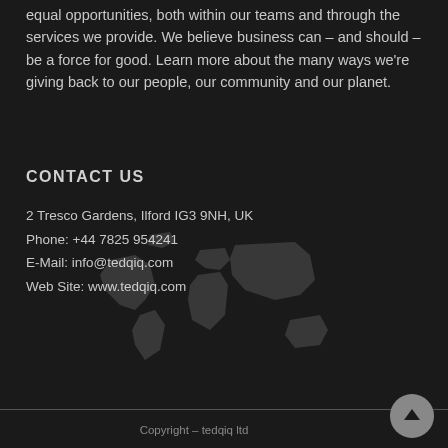equal opportunities, both within our teams and through the services we provide. We believe business can – and should – be a force for good. Learn more about the many ways we're giving back to our people, our community and our planet.
CONTACT US
2 Tresco Gardens, Ilford IG3 9NH, UK
Phone: +44 7825 954241
E-Mail: info@tedqiq.com
Web Site: www.tedqiq.com
[Figure (illustration): Faint world map watermark in grey on dark background]
Copyright – tedqiq ltd